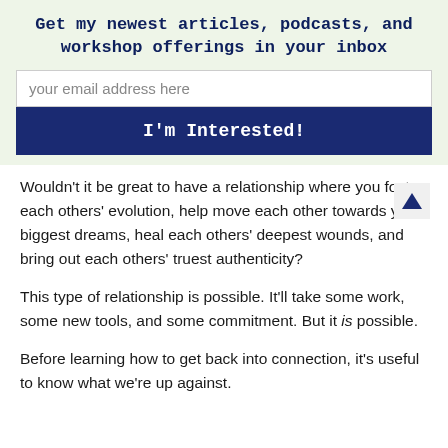Get my newest articles, podcasts, and workshop offerings in your inbox
your email address here
I'm Interested!
Wouldn't it be great to have a relationship where you foster each others' evolution, help move each other towards your biggest dreams, heal each others' deepest wounds, and bring out each others' truest authenticity?
This type of relationship is possible. It'll take some work, some new tools, and some commitment. But it is possible.
Before learning how to get back into connection, it's useful to know what we're up against.